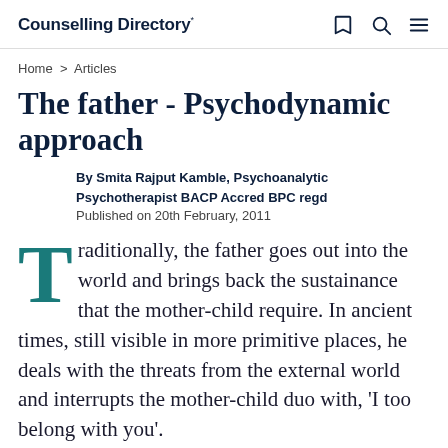Counselling Directory*
Home > Articles
The father - Psychodynamic approach
By Smita Rajput Kamble, Psychoanalytic Psychotherapist BACP Accred BPC regd
Published on 20th February, 2011
Traditionally, the father goes out into the world and brings back the sustainance that the mother-child require. In ancient times, still visible in more primitive places, he deals with the threats from the external world and interrupts the mother-child duo with, 'I too belong with you'.